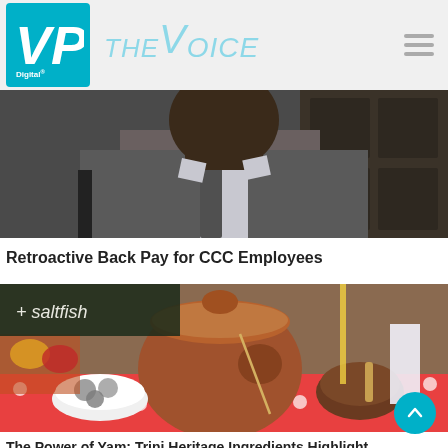VP Digital | THE VOICE
[Figure (photo): Close-up photo of a man in a suit and tie, appears to be a news article image]
Retroactive Back Pay for CCC Employees
[Figure (photo): Photo of food items including a clay pot, bowls with eggs or small round foods, and other Caribbean food items on a red polka-dot tablecloth. A chalkboard in the background reads 'saltfish'.]
The Power of Yam: Trini Heritage Ingredients Highlight...